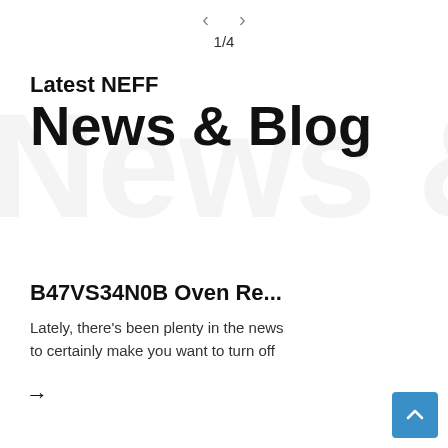< > 1/4
Latest NEFF News & Blog
B47VS34N0B Oven Re...
Lately, there’s been plenty in the news to certainly make you want to turn off
→